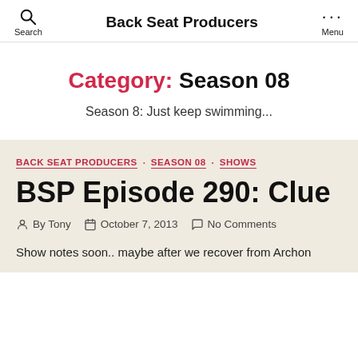Back Seat Producers
Category: Season 08
Season 8: Just keep swimming...
BACK SEAT PRODUCERS  SEASON 08  SHOWS
BSP Episode 290: Clue
By Tony  October 7, 2013  No Comments
Show notes soon.. maybe after we recover from Archon